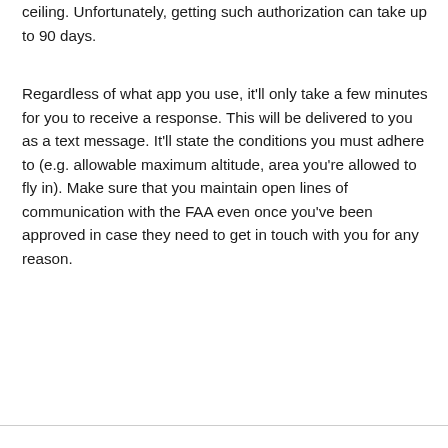ceiling. Unfortunately, getting such authorization can take up to 90 days.
Regardless of what app you use, it'll only take a few minutes for you to receive a response. This will be delivered to you as a text message. It'll state the conditions you must adhere to (e.g. allowable maximum altitude, area you're allowed to fly in). Make sure that you maintain open lines of communication with the FAA even once you've been approved in case they need to get in touch with you for any reason.